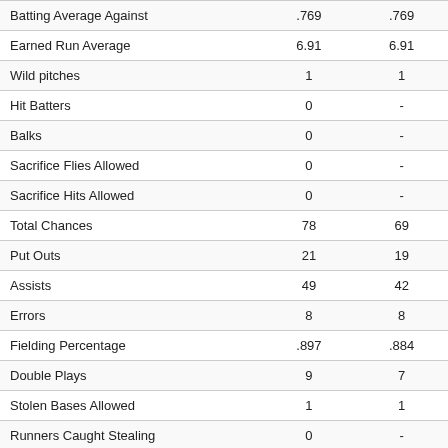|  |  |  |
| --- | --- | --- |
| Batting Average Against | .769 | .769 |
| Earned Run Average | 6.91 | 6.91 |
| Wild pitches | 1 | 1 |
| Hit Batters | 0 | - |
| Balks | 0 | - |
| Sacrifice Flies Allowed | 0 | - |
| Sacrifice Hits Allowed | 0 | - |
| Total Chances | 78 | 69 |
| Put Outs | 21 | 19 |
| Assists | 49 | 42 |
| Errors | 8 | 8 |
| Fielding Percentage | .897 | .884 |
| Double Plays | 9 | 7 |
| Stolen Bases Allowed | 1 | 1 |
| Runners Caught Stealing | 0 | - |
| Runners Caught Stealing Percentage | .000 | - |
| Passed Balls | 0 | - |
| Catcher's Interference | 0 | - |